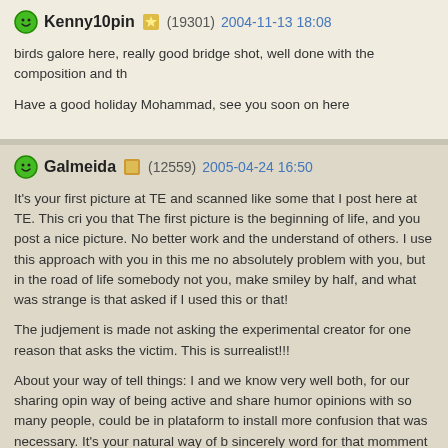Kenny10pin | (19301) 2004-11-13 18:08
birds galore here, really good bridge shot, well done with the composition and th
Have a good holiday Mohammad, see you soon on here
Galmeida (12559) 2005-04-24 16:50
It's your first picture at TE and scanned like some that I post here at TE. This cri you that The first picture is the beginning of life, and you post a nice picture. No better work and the understand of others. I use this approach with you in this me no absolutely problem with you, but in the road of life somebody not you, make smiley by half, and what was strange is that asked if I used this or that!
The judjement is made not asking the experimental creator for one reason that asks the victim. This is surrealist!!!
About your way of tell things: I and we know very well both, for our sharing opin way of being active and share humor opinions with so many people, could be in plataform to install more confusion that was necessary. It's your natural way of b sincerely word for that momment and a good critique of your great initial work a resume I say, sometimes is better to say nothing in public, and let the caravan p
Your last photo is my 100 Favourite list, that values many points for us and our
Great Mohammad and great first post!!!